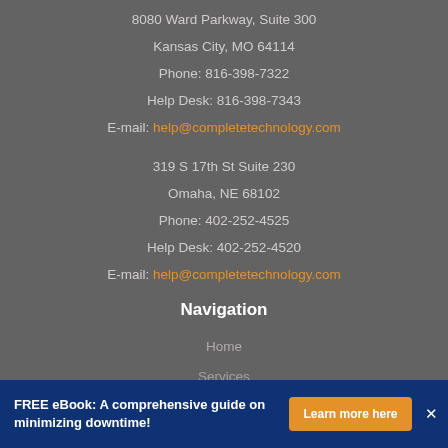8080 Ward Parkway, Suite 300
Kansas City, MO 64114
Phone: 816-398-7322
Help Desk: 816-398-7343
E-mail: help@completetechnology.com
319 S 17th St Suite 230
Omaha, NE 68102
Phone: 402-252-4525
Help Desk: 402-252-4520
E-mail: help@completetechnology.com
Navigation
Home
Services
FREE eBook: A comprehensive guide on minimizing downtime!
Learn more here